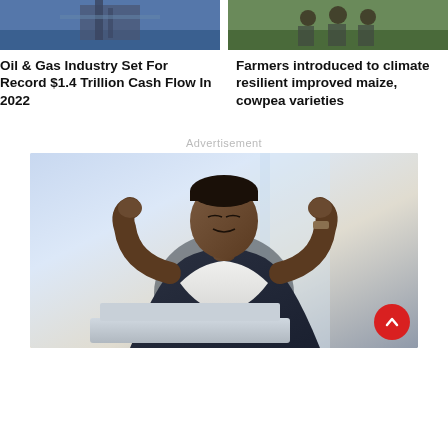[Figure (photo): Aerial photo of an oil and gas offshore drilling platform on water]
[Figure (photo): Photo of farmers in a field, agricultural scene with people standing on grass]
Oil & Gas Industry Set For Record $1.4 Trillion Cash Flow In 2022
Farmers introduced to climate resilient improved maize, cowpea varieties
Advertisement
[Figure (photo): Advertisement photo of a man in a suit relaxing in a chair in front of a laptop, office background]